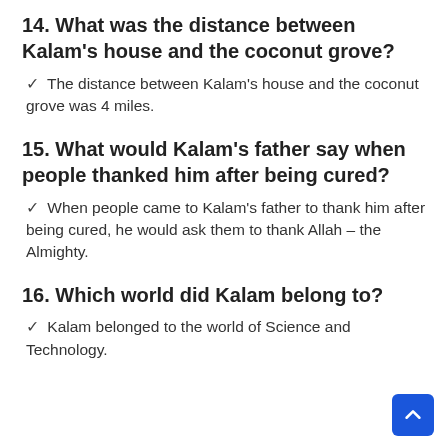14. What was the distance between Kalam's house and the coconut grove?
✓  The distance between Kalam's house and the coconut grove was 4 miles.
15. What would Kalam's father say when people thanked him after being cured?
✓  When people came to Kalam's father to thank him after being cured, he would ask them to thank Allah – the Almighty.
16. Which world did Kalam belong to?
✓  Kalam belonged to the world of Science and Technology.